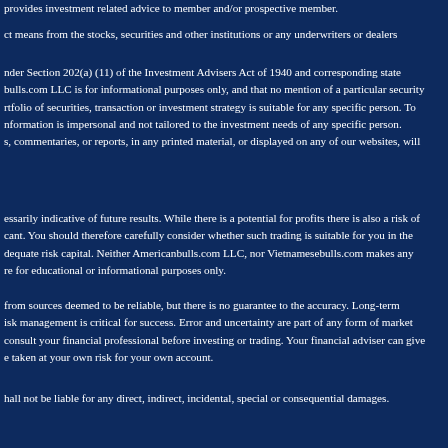provides investment related advice to member and/or prospective member.
ct means from the stocks, securities and other institutions or any underwriters or dealers
nder Section 202(a) (11) of the Investment Advisers Act of 1940 and corresponding state bulls.com LLC is for informational purposes only, and that no mention of a particular security rtfolio of securities, transaction or investment strategy is suitable for any specific person. To nformation is impersonal and not tailored to the investment needs of any specific person. s, commentaries, or reports, in any printed material, or displayed on any of our websites, will
essarily indicative of future results. While there is a potential for profits there is also a risk of cant. You should therefore carefully consider whether such trading is suitable for you in the deduate risk capital. Neither Americanbulls.com LLC, nor Vietnamesebulls.com makes any re for educational or informational purposes only.
from sources deemed to be reliable, but there is no guarantee to the accuracy. Long-term isk management is critical for success. Error and uncertainty are part of any form of market consult your financial professional before investing or trading. Your financial adviser can give e taken at your own risk for your own account.
hall not be liable for any direct, indirect, incidental, special or consequential damages.